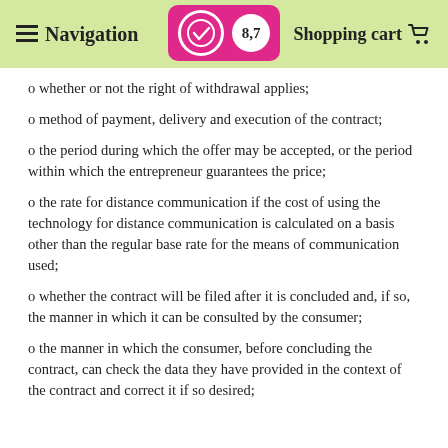Navigation | 8,7 | Shopping cart
o whether or not the right of withdrawal applies;
o method of payment, delivery and execution of the contract;
o the period during which the offer may be accepted, or the period within which the entrepreneur guarantees the price;
o the rate for distance communication if the cost of using the technology for distance communication is calculated on a basis other than the regular base rate for the means of communication used;
o whether the contract will be filed after it is concluded and, if so, the manner in which it can be consulted by the consumer;
o the manner in which the consumer, before concluding the contract, can check the data they have provided in the context of the contract and correct it if so desired;